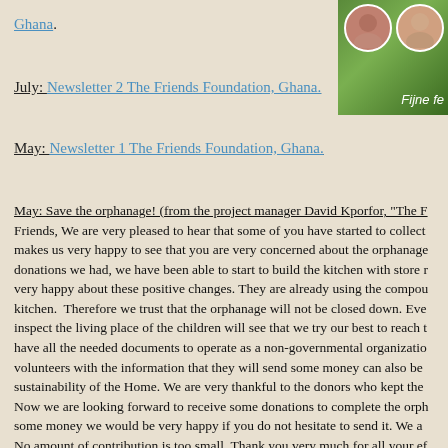Ghana.
[Figure (photo): Two circular portrait photos of people on a green background, with text 'Fijne fe']
July: Newsletter 2 The Friends Foundation, Ghana.
May: Newsletter 1 The Friends Foundation, Ghana.
May: Save the orphanage! (from the project manager David Kporfor, "The F... Friends, We are very pleased to hear that some of you have started to collect... makes us very happy to see that you are very concerned about the orphanage... donations we had, we have been able to start to build the kitchen with store r... very happy about these positive changes. They are already using the compou... kitchen.  Therefore we trust that the orphanage will not be closed down. Eve... inspect the living place of the children will see that we try our best to reach t... have all the needed documents to operate as a non-governmental organizatio... volunteers with the information that they will send some money can also be ... sustainability of the Home. We are very thankful to the donors who kept the ... Now we are looking forward to receive some donations to complete the orph... some money we would be very happy if you do not hesitate to send it. We a... No amount of contribution is too small. Thank you very much for all your ef... the best David, Victoria, all the children and staff."